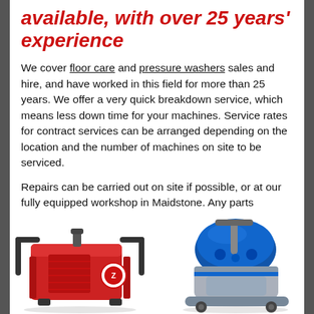available, with over 25 years' experience
We cover floor care and pressure washers sales and hire, and have worked in this field for more than 25 years. We offer a very quick breakdown service, which means less down time for your machines. Service rates for contract services can be arranged depending on the location and the number of machines on site to be serviced.
Repairs can be carried out on site if possible, or at our fully equipped workshop in Maidstone. Any parts required to be fitted will be agreed by you before fitting takes place. We also offer a full on site P.A.T. testing service to floor cleaning equipment if required
[Figure (photo): Red pressure washer machine with handles and circular logo]
[Figure (photo): Blue and grey floor scrubber machine]